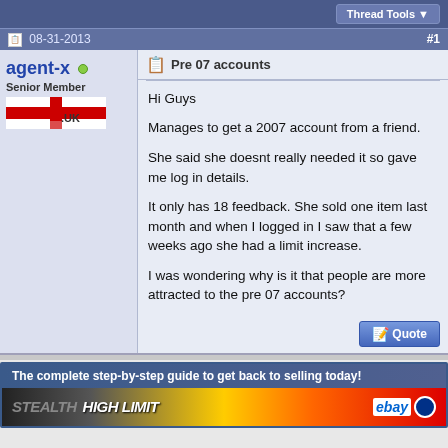Thread Tools
08-31-2013  #1
agent-x  Senior Member
Pre 07 accounts
Hi Guys

Manages to get a 2007 account from a friend.

She said she doesnt really needed it so gave me log in details.

It only has 18 feedback. She sold one item last month and when I logged in I saw that a few weeks ago she had a limit increase.

I was wondering why is it that people are more attracted to the pre 07 accounts?
The complete step-by-step guide to get back to selling today!